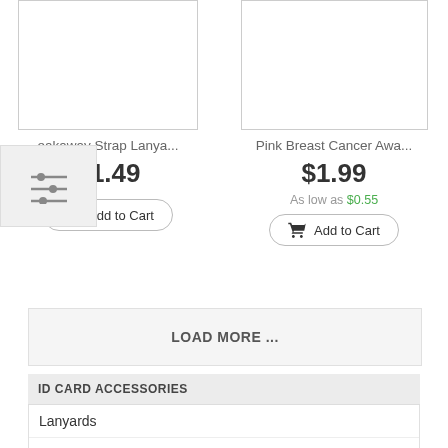[Figure (screenshot): Product image placeholder box for Breakaway Strap Lanyard]
[Figure (screenshot): Product image placeholder box for Pink Breast Cancer Awareness item]
eakaway Strap Lanya...
$1.49
Add to Cart
Pink Breast Cancer Awa...
$1.99
As low as $0.55
Add to Cart
LOAD MORE ...
ID CARD ACCESSORIES
Lanyards
Badge Holders
Badge Reels